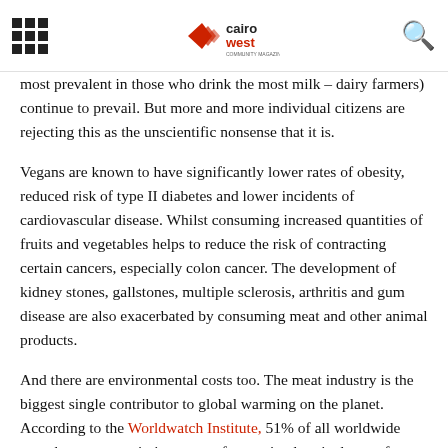[grid icon] Cairo West [search icon]
most prevalent in those who drink the most milk – dairy farmers) continue to prevail. But more and more individual citizens are rejecting this as the unscientific nonsense that it is.
Vegans are known to have significantly lower rates of obesity, reduced risk of type II diabetes and lower incidents of cardiovascular disease. Whilst consuming increased quantities of fruits and vegetables helps to reduce the risk of contracting certain cancers, especially colon cancer. The development of kidney stones, gallstones, multiple sclerosis, arthritis and gum disease are also exacerbated by consuming meat and other animal products.
And there are environmental costs too. The meat industry is the biggest single contributor to global warming on the planet. According to the Worldwatch Institute, 51% of all worldwide greenhouse gas emissions come from animal agriculture – far outstripping the impact of the oil and car industries combined.